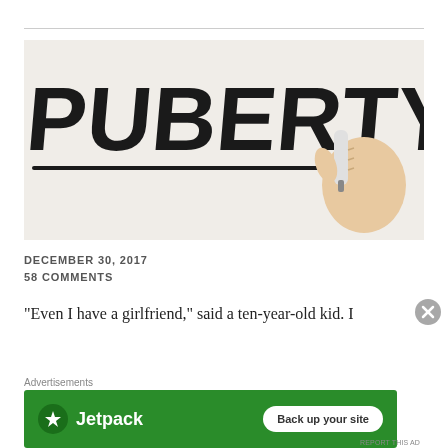[Figure (photo): Hand writing the word PUBERTY in large bold cursive/handwritten letters on a whiteboard or glass surface, with a marker, underlined]
DECEMBER 30, 2017
58 COMMENTS
"Even I have a girlfriend," said a ten-year-old kid. I
[Figure (other): Advertisement banner: Jetpack - Back up your site]